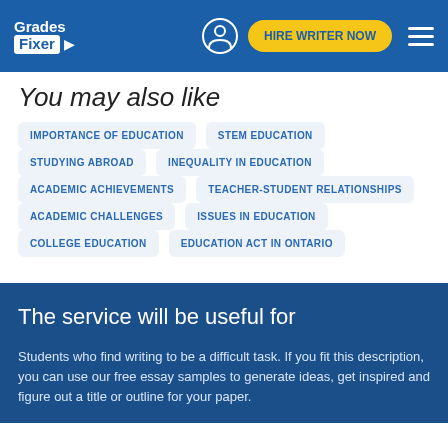Grades Fixer — HIRE WRITER NOW
You may also like
IMPORTANCE OF EDUCATION
STEM EDUCATION
STUDYING ABROAD
INEQUALITY IN EDUCATION
ACADEMIC ACHIEVEMENTS
TEACHER-STUDENT RELATIONSHIPS
ACADEMIC CHALLENGES
ISSUES IN EDUCATION
COLLEGE EDUCATION
EDUCATION ACT IN ONTARIO
The service will be useful for
Students who find writing to be a difficult task. If you fit this description, you can use our free essay samples to generate ideas, get inspired and figure out a title or outline for your paper.